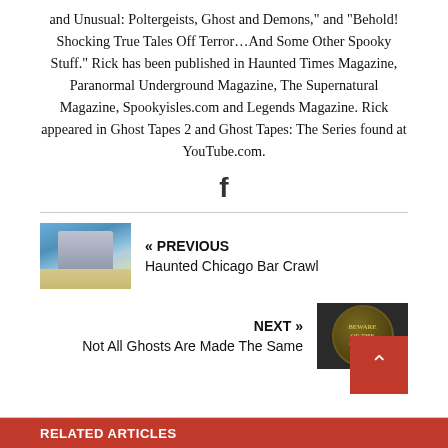and Unusual: Poltergeists, Ghost and Demons," and "Behold! Shocking True Tales Off Terror…And Some Other Spooky Stuff." Rick has been published in Haunted Times Magazine, Paranormal Underground Magazine, The Supernatural Magazine, Spookyisles.com and Legends Magazine. Rick appeared in Ghost Tapes 2 and Ghost Tapes: The Series found at YouTube.com.
[Figure (illustration): Facebook icon (f logo) in dark color]
« PREVIOUS
Haunted Chicago Bar Crawl
[Figure (photo): Photo of Chicago skyline with the Bean sculpture]
NEXT »
Not All Ghosts Are Made The Same
[Figure (photo): Dark door with a round Beware of the Ghosts badge/sign]
RELATED ARTICLES